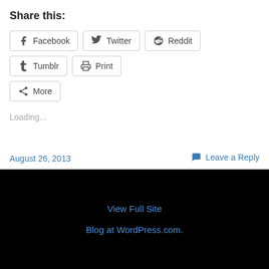Share this:
[Figure (screenshot): Social share buttons: Facebook, Twitter, Reddit, Tumblr, Print, More]
Loading...
August 26, 2013
Leave a Reply
View Full Site
Blog at WordPress.com.